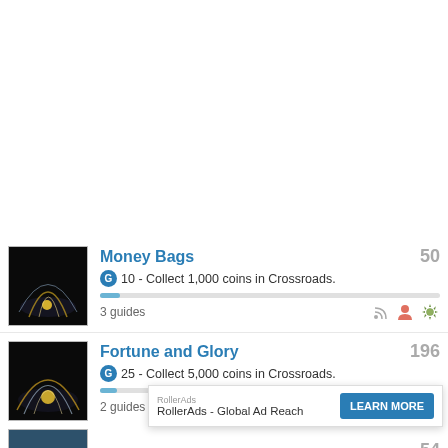[Figure (screenshot): Top blank white area of a webpage]
Money Bags
G 10 - Collect 1,000 coins in Crossroads.
3 guides
Fortune and Glory
G 25 - Collect 5,000 coins in Crossroads.
2 guides
RollerAds
RollerAds - Global Ad Reach
LEARN MORE
54